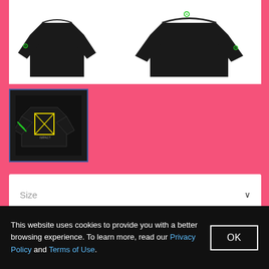[Figure (photo): Black long-sleeve shirt with green logo on chest and sleeves, shown from front and back views on white background]
[Figure (photo): Thumbnail of black long-sleeve shirt with graphic design, selected with blue border]
Size
Qty
1
This website uses cookies to provide you with a better browsing experience. To learn more, read our Privacy Policy and Terms of Use.